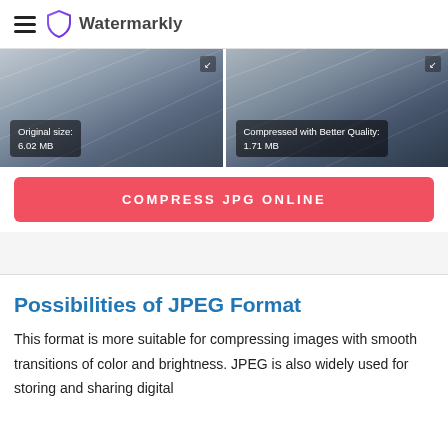Watermarkly
[Figure (screenshot): Side-by-side image comparison showing original (6.02 MB) and compressed with Better Quality (1.71 MB) versions of a photo]
COMPRESS JPG ONLINE
Possibilities of JPEG Format
This format is more suitable for compressing images with smooth transitions of color and brightness. JPEG is also widely used for storing and sharing digital